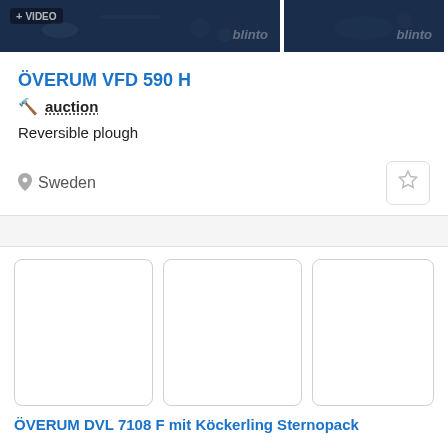[Figure (photo): Two side-by-side thumbnail images of a reversible plough on dark blue background. Left image has a '+ VIDEO' badge and 'blinto' logo watermark. Right image also has 'blinto' watermark.]
ÖVERUM VFD 590 H
auction
Reversible plough
Sweden
[Figure (photo): Three blank/loading card thumbnails arranged side by side]
ÖVERUM DVL 7108 F mit Köckerling Sternopack